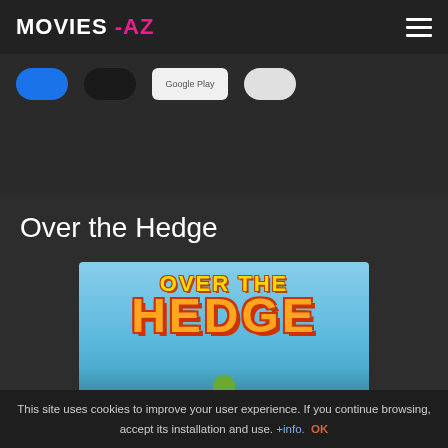MOVIES -AZ
[Figure (screenshot): App store download buttons row: blue button, dark button, Google Play button, white button]
Over the Hedge
[Figure (illustration): Over the Hedge animated movie poster with yellow/orange bold text on blue sky background and cartoon characters at bottom]
This site uses cookies to improve your user experience. If you continue browsing, accept its installation and use. +info. OK